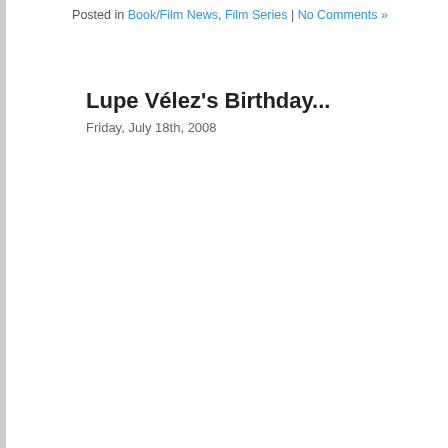Posted in Book/Film News, Film Series | No Comments »
Lupe Vélez's Birthday...
Friday, July 18th, 2008